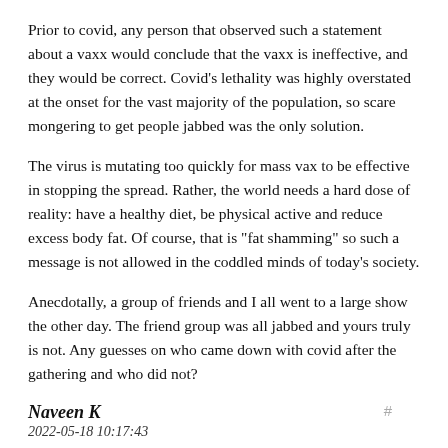Prior to covid, any person that observed such a statement about a vaxx would conclude that the vaxx is ineffective, and they would be correct. Covid's lethality was highly overstated at the onset for the vast majority of the population, so scare mongering to get people jabbed was the only solution.
The virus is mutating too quickly for mass vax to be effective in stopping the spread. Rather, the world needs a hard dose of reality: have a healthy diet, be physical active and reduce excess body fat. Of course, that is "fat shamming" so such a message is not allowed in the coddled minds of today's society.
Anecdotally, a group of friends and I all went to a large show the other day. The friend group was all jabbed and yours truly is not. Any guesses on who came down with covid after the gathering and who did not?
Naveen K
2022-05-18 10:17:43
▲ 8 ▼ -20